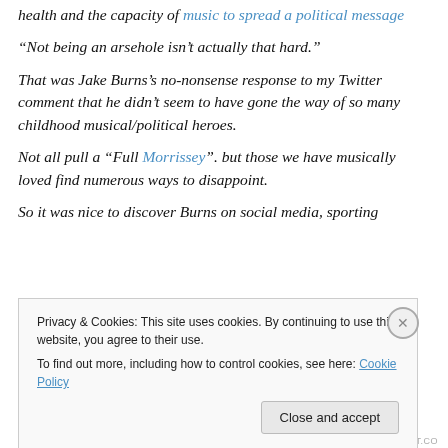health and the capacity of music to spread a political message
“Not being an arsehole isn’t actually that hard.”
That was Jake Burns’s no-nonsense response to my Twitter comment that he didn’t seem to have gone the way of so many childhood musical/political heroes.
Not all pull a “Full Morrissey”. but those we have musically loved find numerous ways to disappoint.
So it was nice to discover Burns on social media, sporting
Privacy & Cookies: This site uses cookies. By continuing to use this website, you agree to their use.
To find out more, including how to control cookies, see here: Cookie Policy
HJPERFECT.CO